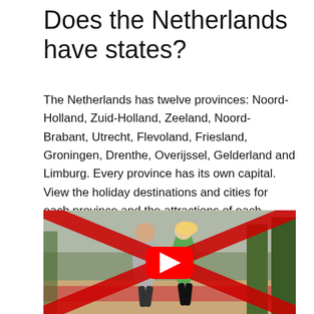Does the Netherlands have states?
The Netherlands has twelve provinces: Noord-Holland, Zuid-Holland, Zeeland, Noord-Brabant, Utrecht, Flevoland, Friesland, Groningen, Drenthe, Overijssel, Gelderland and Limburg. Every province has its own capital. View the holiday destinations and cities for each province and the attractions of each region.
[Figure (photo): Two people jogging in a park, with a YouTube play button overlay and a red X cross over the image, indicating an embedded video thumbnail.]